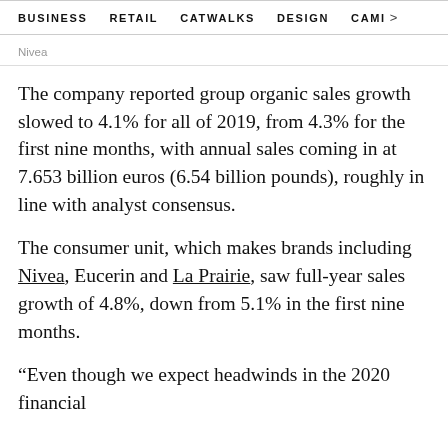BUSINESS   RETAIL   CATWALKS   DESIGN   CAMI >
Nivea
The company reported group organic sales growth slowed to 4.1% for all of 2019, from 4.3% for the first nine months, with annual sales coming in at 7.653 billion euros (6.54 billion pounds), roughly in line with analyst consensus.
The consumer unit, which makes brands including Nivea, Eucerin and La Prairie, saw full-year sales growth of 4.8%, down from 5.1% in the first nine months.
“Even though we expect headwinds in the 2020 financial